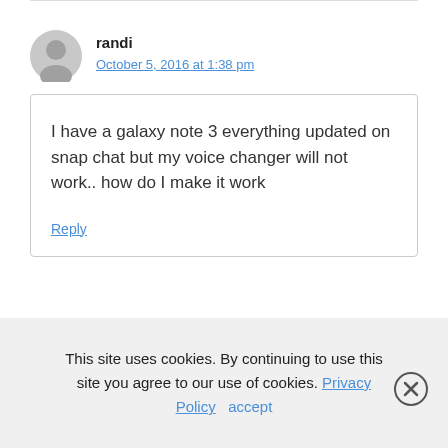[Figure (other): User avatar icon - circular grey person silhouette]
randi
October 5, 2016 at 1:38 pm
I have a galaxy note 3 everything updated on snap chat but my voice changer will not work.. how do I make it work
Reply
This site uses cookies. By continuing to use this site you agree to our use of cookies. Privacy Policy   accept